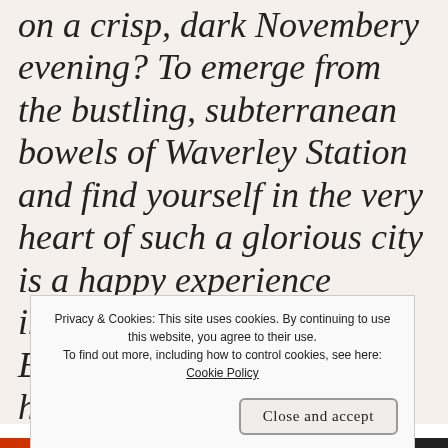on a crisp, dark Novembery evening? To emerge from the bustling, subterranean bowels of Waverley Station and find yourself in the very heart of such a glorious city is a happy experience indeed. I hadn't been to Edinburgh for years and had forgotten just how captivating it can be . . . Every bookshop window was full of books about Scotland or by Scottish
Privacy & Cookies: This site uses cookies. By continuing to use this website, you agree to their use. To find out more, including how to control cookies, see here: Cookie Policy
Close and accept